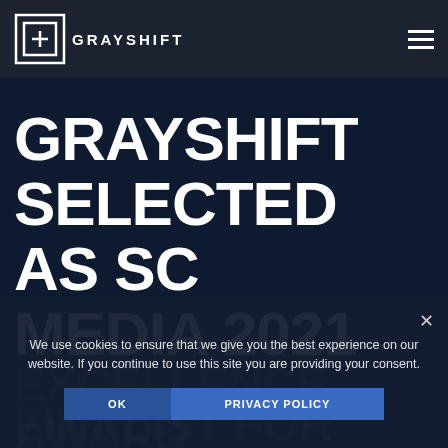GRAYSHIFT
GRAYSHIFT SELECTED AS SC MEDIA 2021
EXCELLENCE AWARD
FINALIST FOR BEST
We use cookies to ensure that we give you the best experience on our website. If you continue to use this site you are providing your consent.
OK
PRIVACY POLICY